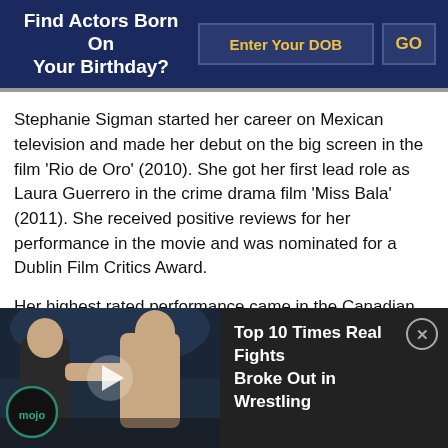Find Actors Born On Your Birthday?
Stephanie Sigman started her career on Mexican television and made her debut on the big screen in the film ‘Rio de Oro’ (2010). She got her first lead role as Laura Guerrero in the crime drama film ‘Miss Bala’ (2011). She received positive reviews for her performance in the movie and was nominated for a Dublin Film Critics Award.
Her highest rated performance came in the Canadian documentary ‘Fight of the Butterflies’ (2012). Sigman
[Figure (screenshot): Video overlay showing two wrestlers facing off, with WatchMojo logo, play button, and title 'Top 10 Times Real Fights Broke Out in Wrestling']